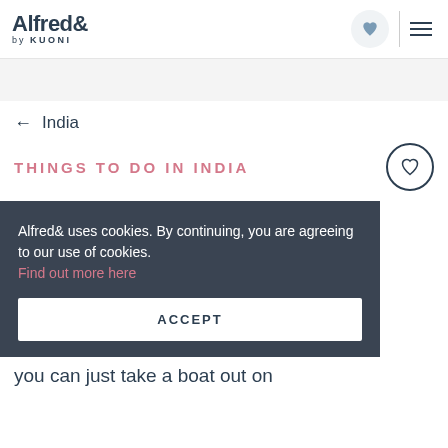Alfred& by KUONI
← India
THINGS TO DO IN INDIA
Alfred& uses cookies. By continuing, you are agreeing to our use of cookies. Find out more here
ACCEPT
you can just take a boat out on